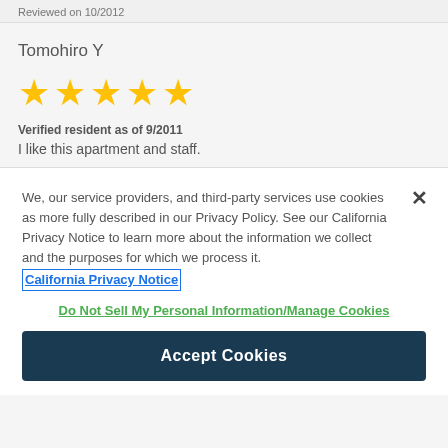Reviewed on 10/2012
Tomohiro Y
[Figure (other): 5 gold star rating]
Verified resident as of 9/2011
I like this apartment and staff.
We, our service providers, and third-party services use cookies as more fully described in our Privacy Policy. See our California Privacy Notice to learn more about the information we collect and the purposes for which we process it. California Privacy Notice
Do Not Sell My Personal Information/Manage Cookies
Accept Cookies